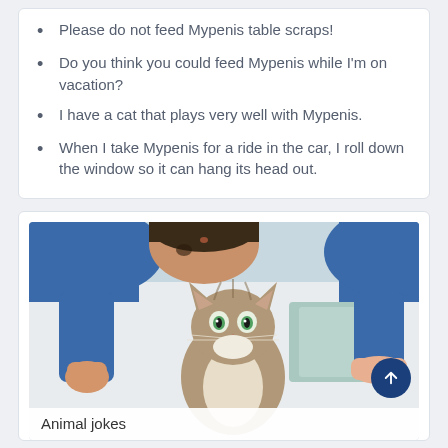Please do not feed Mypenis table scraps!
Do you think you could feed Mypenis while I'm on vacation?
I have a cat that plays very well with Mypenis.
When I take Mypenis for a ride in the car, I roll down the window so it can hang its head out.
[Figure (photo): A person leaning over and kissing a tabby cat on the head. The cat looks directly at the camera with a neutral expression. The background is light and blurry.]
Animal jokes